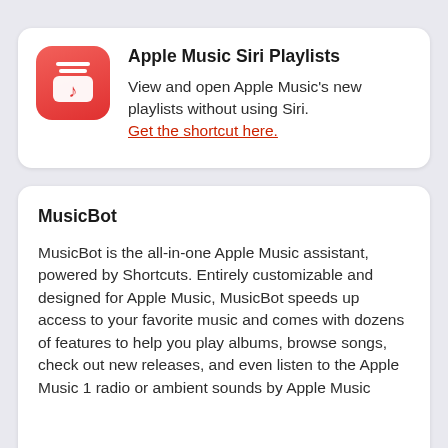[Figure (logo): Apple Music app icon: red rounded square with white music note and stacked lines symbol]
Apple Music Siri Playlists
View and open Apple Music's new playlists without using Siri. Get the shortcut here.
MusicBot
MusicBot is the all-in-one Apple Music assistant, powered by Shortcuts. Entirely customizable and designed for Apple Music, MusicBot speeds up access to your favorite music and comes with dozens of features to help you play albums, browse songs, check out new releases, and even listen to the Apple Music 1 radio or ambient sounds by Apple Music...